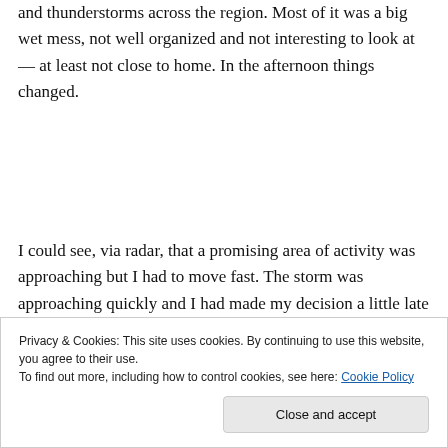and thunderstorms across the region. Most of it was a big wet mess, not well organized and not interesting to look at — at least not close to home. In the afternoon things changed.
I could see, via radar, that a promising area of activity was approaching but I had to move fast. The storm was approaching quickly and I had made my decision a little late in the game. I grabbed my phone, and one DSLR camera and rushed out the door.
[Figure (screenshot): Partial screenshot of a website with purple background showing a 'Start a new store' input box on the left and a grey panel with horizontal lines and 'Aa' text on the right.]
Privacy & Cookies: This site uses cookies. By continuing to use this website, you agree to their use.
To find out more, including how to control cookies, see here: Cookie Policy